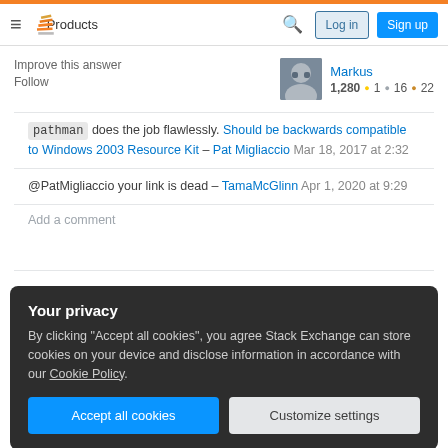Stack Overflow — Products | Log in | Sign up
Improve this answer
Follow
Markus 1,280 ●1 ●16 ●22
pathman does the job flawlessly. Should be backwards compatible to Windows 2003 Resource Kit – Pat Migliaccio Mar 18, 2017 at 2:32
@PatMigliaccio your link is dead – TamaMcGlinn Apr 1, 2020 at 9:29
Add a comment
Your privacy
By clicking "Accept all cookies", you agree Stack Exchange can store cookies on your device and disclose information in accordance with our Cookie Policy.
Accept all cookies   Customize settings
root or administrator does this command to correct the issue that McAfee's Web Central does to